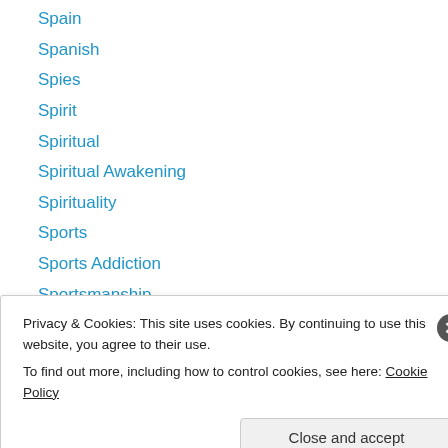Spain
Spanish
Spies
Spirit
Spiritual
Spiritual Awakening
Spirituality
Sports
Sports Addiction
Sportsmanship
Spring
Stage Review
Strength
Privacy & Cookies: This site uses cookies. By continuing to use this website, you agree to their use. To find out more, including how to control cookies, see here: Cookie Policy